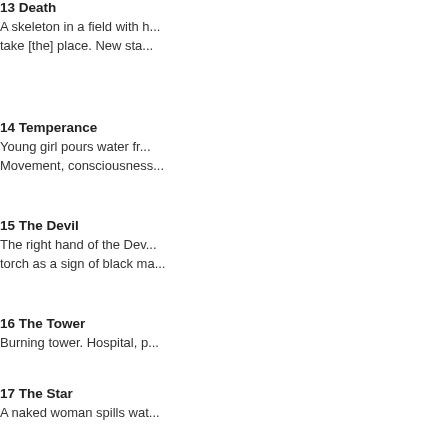13 Death
A skeleton in a field with h... take [the] place. New sta...
14 Temperance
Young girl pours water fr... Movement, consciousness...
15 The Devil
The right hand of the Dev... torch as a sign of black ma...
16 The Tower
Burning tower. Hospital, p...
17 The Star
A naked woman spills wat... Hope. The Self is born in t...
18 The Moon
In the middle of a field is a... open. The crayfish likes to...
19 The Sun
Two naked girls. The su...